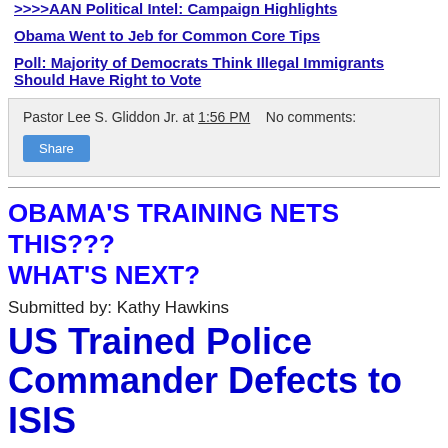>>>>AAN Political Intel: Campaign Highlights
Obama Went to Jeb for Common Core Tips
Poll: Majority of Democrats Think Illegal Immigrants Should Have Right to Vote
Pastor Lee S. Gliddon Jr. at 1:56 PM    No comments:
Share
OBAMA'S TRAINING NETS THIS??? WHAT'S NEXT?
Submitted by: Kathy Hawkins
US Trained Police Commander Defects to ISIS